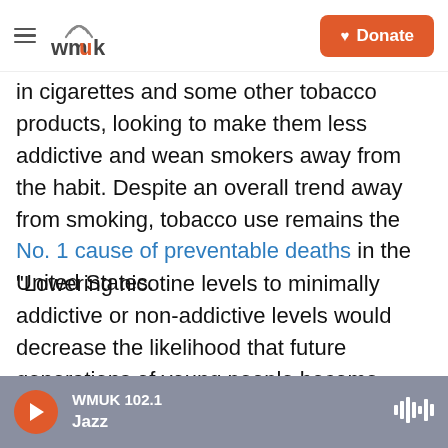WMUK — Hamburger menu and Donate button
in cigarettes and some other tobacco products, looking to make them less addictive and wean smokers away from the habit. Despite an overall trend away from smoking, tobacco use remains the No. 1 cause of preventable deaths in the United States.
"Lowering nicotine levels to minimally addictive or non-addictive levels would decrease the likelihood that future generations of young people become addicted to cigarettes and help more currently addicted smokers to quit," FDA Commissioner Robert M. Califf said as the agency announced its
WMUK 102.1 Jazz